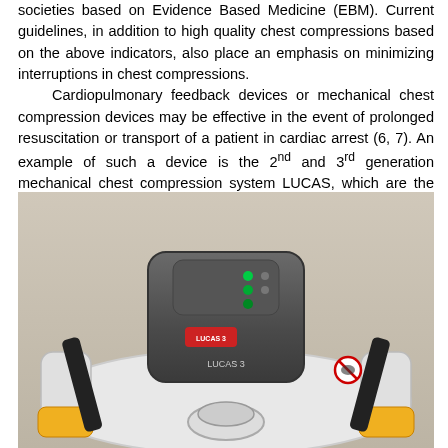societies based on Evidence Based Medicine (EBM). Current guidelines, in addition to high quality chest compressions based on the above indicators, also place an emphasis on minimizing interruptions in chest compressions.
    Cardiopulmonary feedback devices or mechanical chest compression devices may be effective in the event of prolonged resuscitation or transport of a patient in cardiac arrest (6, 7). An example of such a device is the 2nd and 3rd generation mechanical chest compression system LUCAS, which are the most common chest compression systems used in Poland (fig. 1).
[Figure (photo): Photograph of a LUCAS 3 mechanical chest compression device viewed from above, showing the grey main unit with control buttons and a red brand label reading 'LUCAS 3', mounted on a white and yellow frame with black straps.]